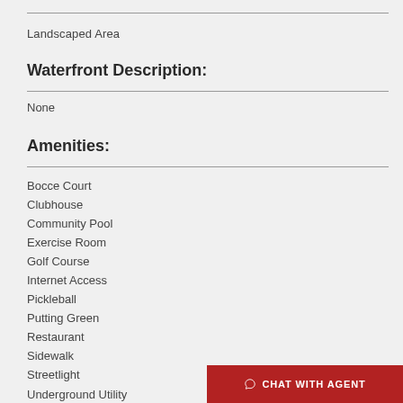Landscaped Area
Waterfront Description:
None
Amenities:
Bocce Court
Clubhouse
Community Pool
Exercise Room
Golf Course
Internet Access
Pickleball
Putting Green
Restaurant
Sidewalk
Streetlight
Underground Utility